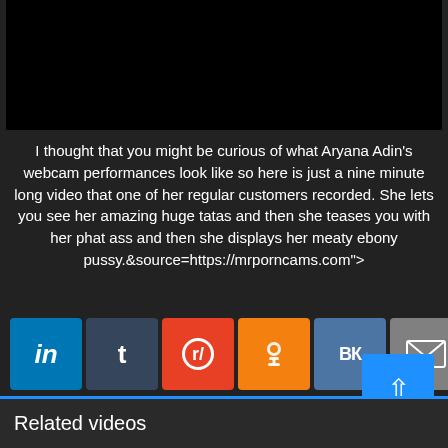[Figure (screenshot): Black video player area]
I thought that you might be curious of what Aryana Adin's webcam performances look like so here is just a nine minute long video that one of her regular customers recorded. She lets you see her amazing huge tatas and then she teases you with her phat ass and then she displays her meaty ebony pussy.&source=https://mrporncams.com">
[Figure (screenshot): Social share buttons: LinkedIn, Tumblr, Reddit, Odnoklassniki, VK, Email]
[Figure (screenshot): Scroll to top button (blue, arrow up)]
Related videos